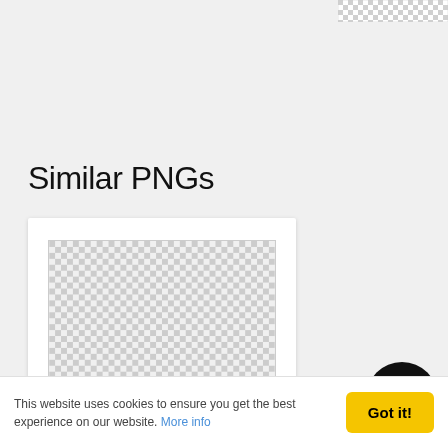[Figure (other): Checkerboard transparency pattern thumbnail in top-right corner]
Similar PNGs
[Figure (other): Card containing a large checkerboard transparency pattern image representing a PNG with transparent background]
Peonies Skylovers Picture
This website uses cookies to ensure you get the best experience on our website. More info
Got it!